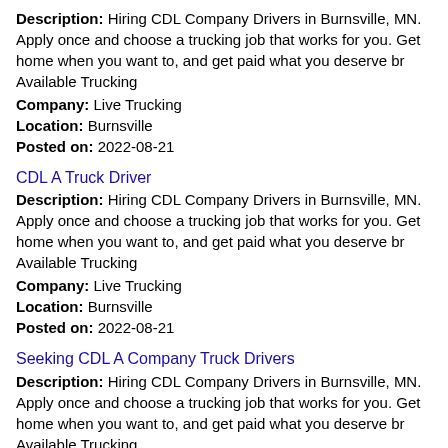Description: Hiring CDL Company Drivers in Burnsville, MN. Apply once and choose a trucking job that works for you. Get home when you want to, and get paid what you deserve br Available Trucking
Company: Live Trucking
Location: Burnsville
Posted on: 2022-08-21
CDL A Truck Driver
Description: Hiring CDL Company Drivers in Burnsville, MN. Apply once and choose a trucking job that works for you. Get home when you want to, and get paid what you deserve br Available Trucking
Company: Live Trucking
Location: Burnsville
Posted on: 2022-08-21
Seeking CDL A Company Truck Drivers
Description: Hiring CDL Company Drivers in Burnsville, MN. Apply once and choose a trucking job that works for you. Get home when you want to, and get paid what you deserve br Available Trucking
Company: Live Trucking
Location: Burnsville
Posted on: 2022-08-20
CDL-A Company Driver - Quick Apply!